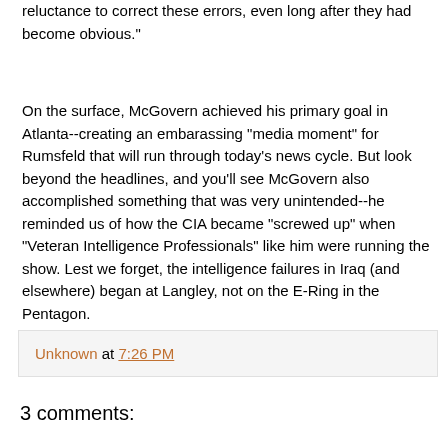reluctance to correct these errors, even long after they had become obvious."
On the surface, McGovern achieved his primary goal in Atlanta--creating an embarassing "media moment" for Rumsfeld that will run through today's news cycle. But look beyond the headlines, and you'll see McGovern also accomplished something that was very unintended--he reminded us of how the CIA became "screwed up" when "Veteran Intelligence Professionals" like him were running the show. Lest we forget, the intelligence failures in Iraq (and elsewhere) began at Langley, not on the E-Ring in the Pentagon.
Unknown at 7:26 PM
3 comments: